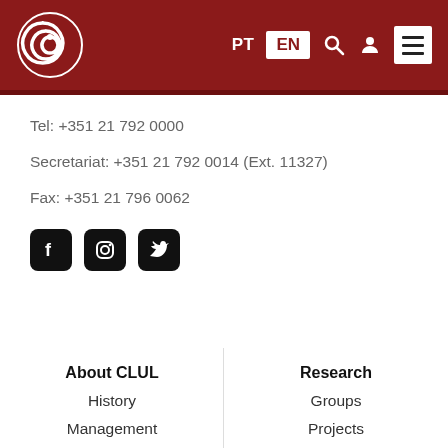[Figure (logo): CLUL spiral logo in white on dark red header background]
Tel: +351 21 792 0000
Secretariat: +351 21 792 0014 (Ext. 11327)
Fax: +351 21 796 0062
[Figure (illustration): Social media icons: Facebook, Instagram, Twitter]
About CLUL
History
Management
Research
Groups
Projects